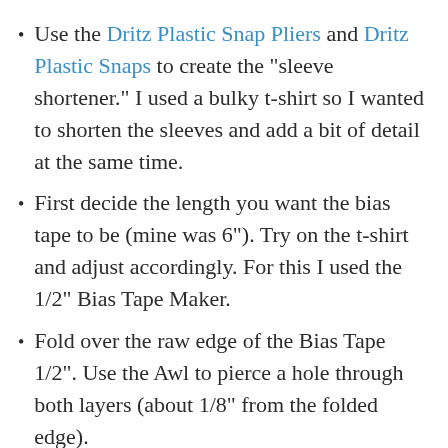Use the Dritz Plastic Snap Pliers and Dritz Plastic Snaps to create the "sleeve shortener." I used a bulky t-shirt so I wanted to shorten the sleeves and add a bit of detail at the same time.
First decide the length you want the bias tape to be (mine was 6"). Try on the t-shirt and adjust accordingly. For this I used the 1/2" Bias Tape Maker.
Fold over the raw edge of the Bias Tape 1/2". Use the Awl to pierce a hole through both layers (about 1/8" from the folded edge).
Insert the decorative cap through the hole and add the stud over the prong (wrong side). Secure with the Plastic Snap Pliers.
Sew the other end along the seam allowance of the shoulder/sleeve seam (wrong sides